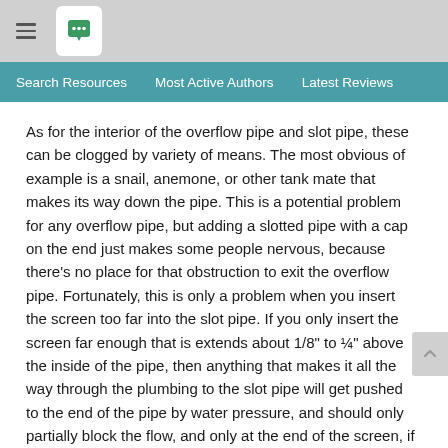Search Resources   Most Active Authors   Latest Reviews
As for the interior of the overflow pipe and slot pipe, these can be clogged by variety of means. The most obvious of example is a snail, anemone, or other tank mate that makes its way down the pipe. This is a potential problem for any overflow pipe, but adding a slotted pipe with a cap on the end just makes some people nervous, because there's no place for that obstruction to exit the overflow pipe. Fortunately, this is only a problem when you insert the screen too far into the slot pipe. If you only insert the screen far enough that is extends about 1/8" to ¼" above the inside of the pipe, then anything that makes it all the way through the plumbing to the slot pipe will get pushed to the end of the pipe by water pressure, and should only partially block the flow, and only at the end of the screen, if at all.